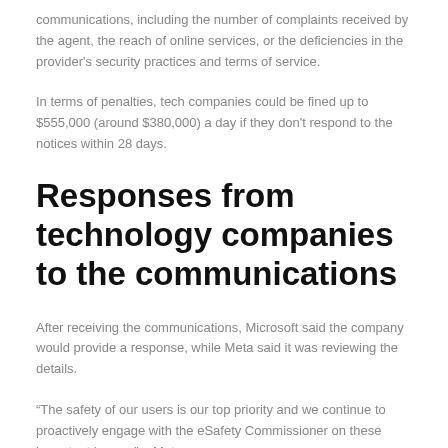communications, including the number of complaints received by the agent, the reach of online services, or the deficiencies in the provider's security practices and terms of service.
In terms of penalties, tech companies could be fined up to $555,000 (around $380,000) a day if they don't respond to the notices within 28 days.
Responses from technology companies to the communications
After receiving the communications, Microsoft said the company would provide a response, while Meta said it was reviewing the details.
“The safety of our users is our top priority and we continue to proactively engage with the eSafety Commissioner on these important issues,” a Meta